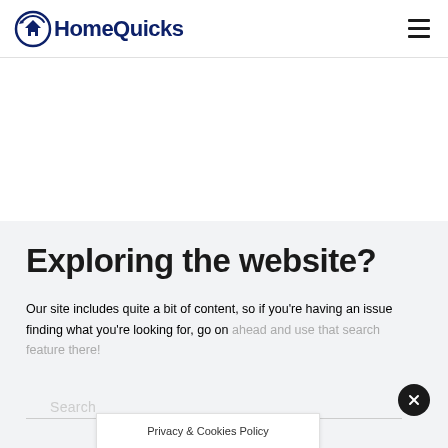HomeQuicks
Exploring the website?
Our site includes quite a bit of content, so if you're having an issue finding what you're looking for, go on ahead and use that search feature there!
Search